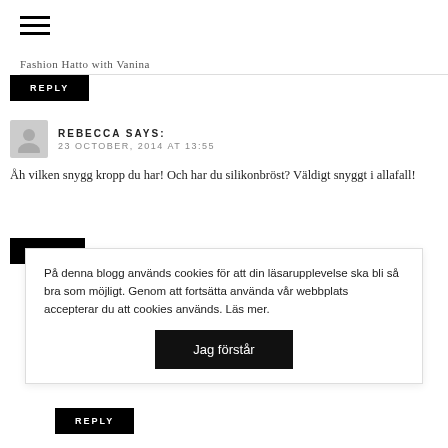Fashion Hatto with Vanina
REPLY
REBECCA SAYS:
23 OCTOBER, 2014 AT 13:55
Åh vilken snygg kropp du har! Och har du silikonbröst? Väldigt snyggt i allafall!
REPLY
På denna blogg används cookies för att din läsarupplevelse ska bli så bra som möjligt. Genom att fortsätta använda vår webbplats accepterar du att cookies används. Läs mer.
Jag förstår
REPLY